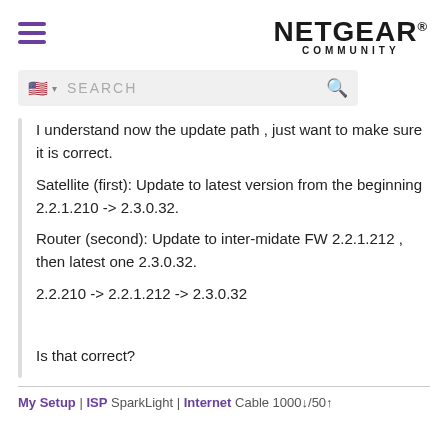[Figure (logo): NETGEAR COMMUNITY logo with hamburger menu icon]
[Figure (screenshot): Search bar with US flag icon and search magnifier]
I understand now the update path , just want to make sure it is correct.
Satellite (first): Update to latest version from the beginning 2.2.1.210 -> 2.3.0.32.
Router (second): Update to inter-midate FW 2.2.1.212 , then latest one 2.3.0.32.
2.2.210 -> 2.2.1.212 -> 2.3.0.32

Is that correct?
My Setup | ISP SparkLight | Internet Cable 1000↓/50↑